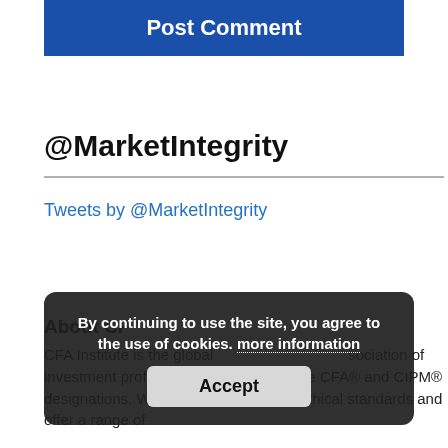[Figure (screenshot): Blue 'Post Comment' button]
@MarketIntegrity
Tweets by @MarketIntegrity
About CF
CFA Institute is the global association of investment professionals that awards the CFA® and CIPM® designations. We promote the highest ethical standards and offer a range of
By continuing to use the site, you agree to the use of cookies. more information
Accept